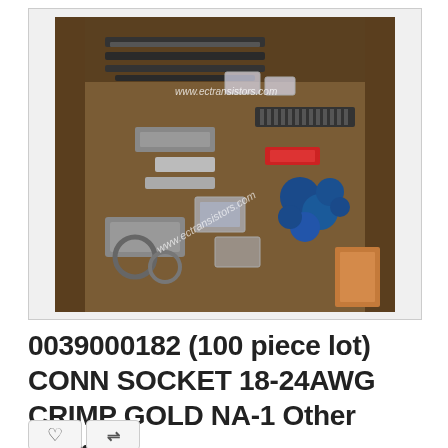[Figure (photo): A cardboard box filled with various electronic components and connectors including crimp sockets, blue capacitors, and other hardware. Watermark text 'www.ectransistors.com' appears twice on the photo.]
0039000182 (100 piece lot) CONN SOCKET 18-24AWG CRIMP GOLD NA-1 Other Inter